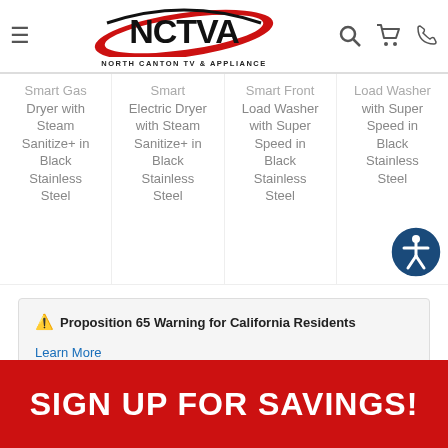NORTH CANTON TV & APPLIANCE - NCTVA
Smart Gas Dryer with Steam Sanitize+ in Black Stainless Steel
Smart Electric Dryer with Steam Sanitize+ in Black Stainless Steel
Smart Front Load Washer with Super Speed in Black Stainless Steel
Load Washer with Super Speed in Black Stainless Steel
⚠ Proposition 65 Warning for California Residents
Learn More
SIGN UP FOR SAVINGS!